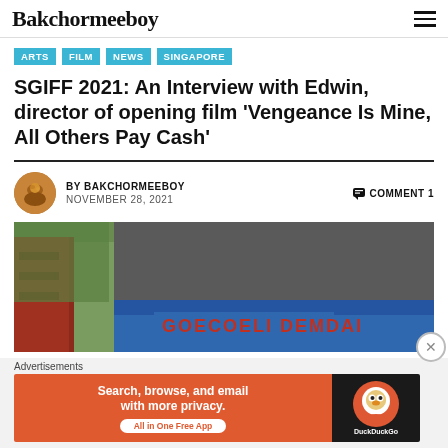Bakchormeeboy
ARTS
FILM
NEWS
SINGAPORE
SGIFF 2021: An Interview with Edwin, director of opening film ‘Vengeance Is Mine, All Others Pay Cash’
BY BAKCHORMEEBOY   COMMENT 1
NOVEMBER 28, 2021
[Figure (photo): Film still or promotional image showing a red structure on the left and a blue vehicle/truck under a dark tarpaulin, with green trees in background]
Advertisements
[Figure (screenshot): DuckDuckGo advertisement banner: orange left side with text 'Search, browse, and email with more privacy. All in One Free App', dark right side with DuckDuckGo logo]